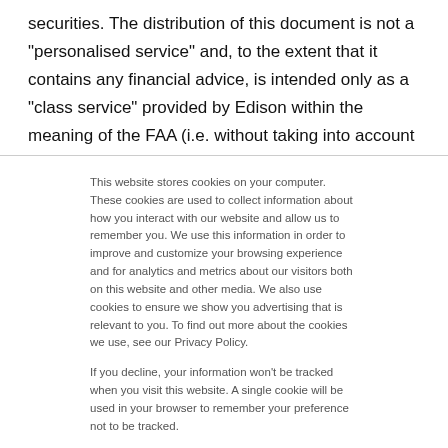securities. The distribution of this document is not a “personalised service” and, to the extent that it contains any financial advice, is intended only as a “class service” provided by Edison within the meaning of the FAA (i.e. without taking into account the particular financial situation or goals of any person). As such, it should not be
This website stores cookies on your computer. These cookies are used to collect information about how you interact with our website and allow us to remember you. We use this information in order to improve and customize your browsing experience and for analytics and metrics about our visitors both on this website and other media. We also use cookies to ensure we show you advertising that is relevant to you. To find out more about the cookies we use, see our Privacy Policy.

If you decline, your information won’t be tracked when you visit this website. A single cookie will be used in your browser to remember your preference not to be tracked.